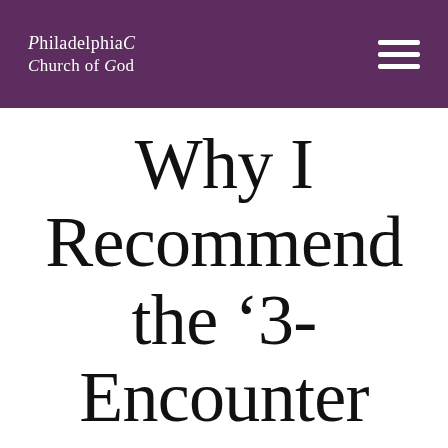Philadelphia Church of God
Why I Recommend the ‘3-Encounter